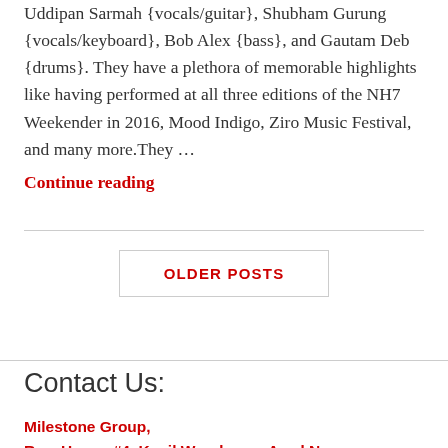Uddipan Sarmah {vocals/guitar}, Shubham Gurung {vocals/keyboard}, Bob Alex {bass}, and Gautam Deb {drums}. They have a plethora of memorable highlights like having performed at all three editions of the NH7 Weekender in 2016, Mood Indigo, Ziro Music Festival, and many more.They ...
Continue reading
OLDER POSTS
Contact Us:
Milestone Group,
Row House #4, Kapil Woodrows, Azad Nagar,